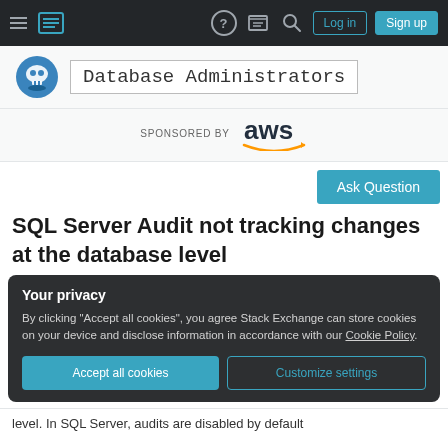Database Administrators — Stack Exchange navigation bar with Log in and Sign up buttons
[Figure (logo): Database Administrators site logo with AWS sponsor]
SQL Server Audit not tracking changes at the database level
Your privacy
By clicking "Accept all cookies", you agree Stack Exchange can store cookies on your device and disclose information in accordance with our Cookie Policy.
Accept all cookies   Customize settings
level. In SQL Server, audits are disabled by default